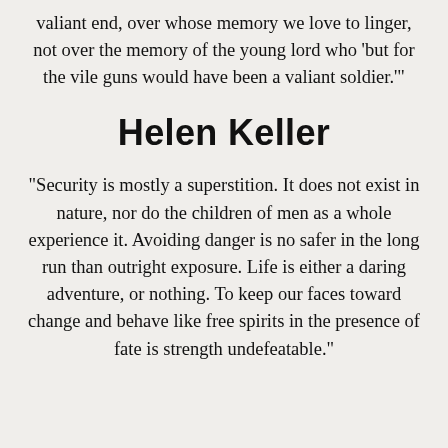valiant end, over whose memory we love to linger, not over the memory of the young lord who 'but for the vile guns would have been a valiant soldier.'"
Helen Keller
“Security is mostly a superstition. It does not exist in nature, nor do the children of men as a whole experience it. Avoiding danger is no safer in the long run than outright exposure. Life is either a daring adventure, or nothing. To keep our faces toward change and behave like free spirits in the presence of fate is strength undefeatable.”